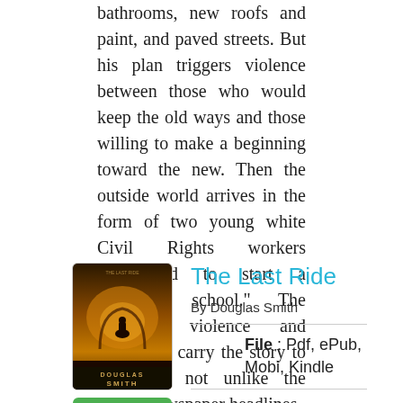bathrooms, new roofs and paint, and paved streets. But his plan triggers violence between those who would keep the old ways and those willing to make a beginning toward the new. Then the outside world arrives in the form of two young white Civil Rights workers determined to start a "freedom school." The resulting violence and bloodshed carry the story to a climax not unlike the 1960s' newspaper headlines.
The Last Ride
By Douglas Smith
File : Pdf, ePub, Mobi, Kindle
[Figure (illustration): Book cover of 'The Last Ride' by Douglas Smith, showing a dark orange/brown atmospheric scene with a silhouette figure. Author name visible at bottom.]